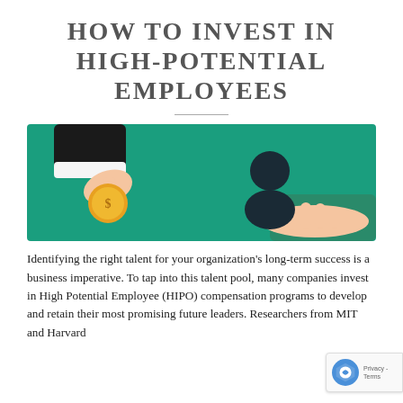HOW TO INVEST IN HIGH-POTENTIAL EMPLOYEES
[Figure (illustration): Illustration on a teal/green background showing a hand pressing a gold coin onto a surface, and another hand holding a person icon (dark silhouette of a human figure), representing investment in employees.]
Identifying the right talent for your organization's long-term success is a business imperative. To tap into this talent pool, many companies invest in High Potential Employee (HIPO) compensation programs to develop and retain their most promising future leaders. Researchers from MIT and Harvard